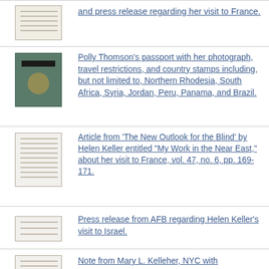and press release regarding her visit to France.
Polly Thomson's passport with her photograph, travel restrictions, and country stamps including, but not limited to, Northern Rhodesia, South Africa, Syria, Jordan, Peru, Panama, and Brazil.
Article from 'The New Outlook for the Blind' by Helen Keller entitled "My Work in the Near East," about her visit to France, vol. 47, no. 6, pp. 169-171.
Press release from AFB regarding Helen Keller's visit to Israel.
Note from Mary L. Kelleher, NYC with accompanying list of